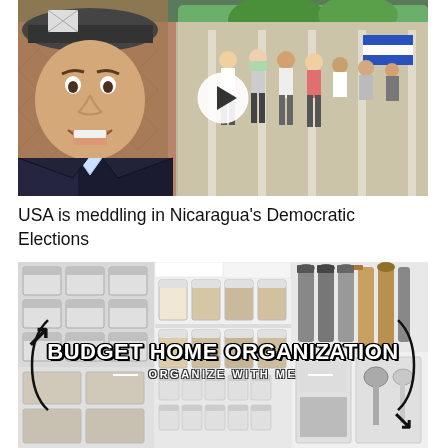[Figure (screenshot): Video thumbnail showing a man in a dark cap and suit jacket in foreground making an expressive face, with a crowd of people in the background near what appears to be a polling station with flags. A white play button circle is overlaid in the center.]
USA is meddling in Nicaragua's Democratic Elections
[Figure (photo): Collage image showing kitchen organization items: spice jars on left, pantry containers in middle, kitchen utensils on right. Text overlay reads 'BUDGET HOME ORGANIZATION' and 'ORGANIZE WITH ME' with arrow decorations.]